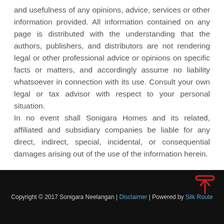and usefulness of any opinions, advice, services or other information provided. All information contained on any page is distributed with the understanding that the authors, publishers, and distributors are not rendering legal or other professional advice or opinions on specific facts or matters, and accordingly assume no liability whatsoever in connection with its use. Consult your own legal or tax advisor with respect to your personal situation. In no event shall Sonigara Homes and its related, affiliated and subsidiary companies be liable for any direct, indirect, special, incidental, or consequential damages arising out of the use of the information herein.
Copyright © 2017 Sonigara Neelangan | Disclaimer | Powered by Silk Route